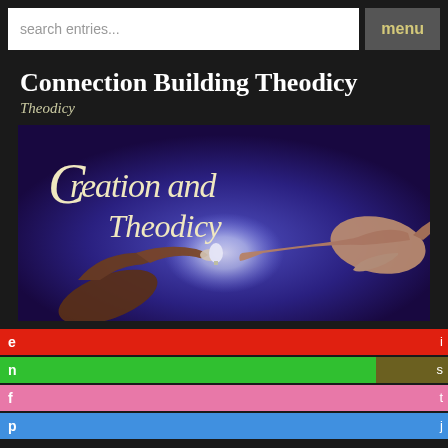search entries...   menu
Connection Building Theodicy
Theodicy
[Figure (illustration): Book cover image titled 'Creation and Theodicy' showing two hands nearly touching (reminiscent of Michelangelo's Creation of Adam), with one hand dark-skinned and one light-skinned, touching fingertips around a glowing light bulb, set against a deep blue/purple background with stylized serif text.]
e   i
n   s
f   t
p   j